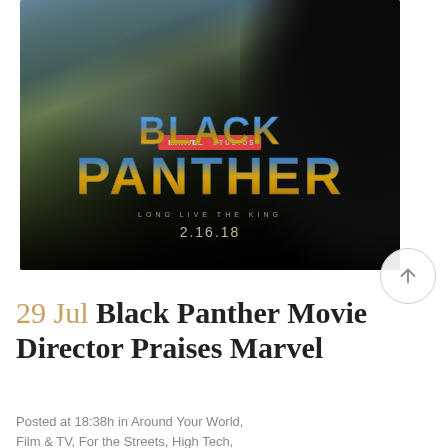[Figure (photo): Black Panther movie poster showing a massive black panther overlooking the city of Wakanda with Marvel Studios branding, 'BLACK PANTHER' title in gold/blue metallic lettering, tagline 'LONG LIVE THE KING', and release date '2.16.18']
29 Jul Black Panther Movie Director Praises Marvel
Posted at 18:38h in Around Your World, Film & TV, For the Streets, High Tech,